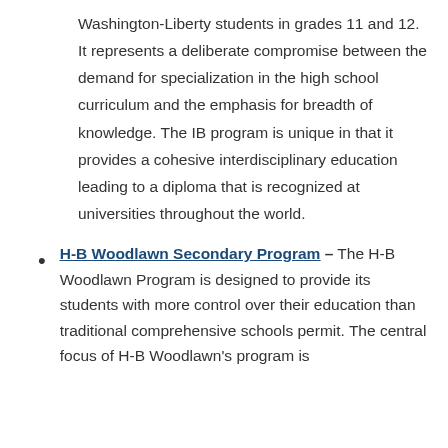Washington-Liberty students in grades 11 and 12. It represents a deliberate compromise between the demand for specialization in the high school curriculum and the emphasis for breadth of knowledge. The IB program is unique in that it provides a cohesive interdisciplinary education leading to a diploma that is recognized at universities throughout the world.
H-B Woodlawn Secondary Program – The H-B Woodlawn Program is designed to provide its students with more control over their education than traditional comprehensive schools permit. The central focus of H-B Woodlawn's program is